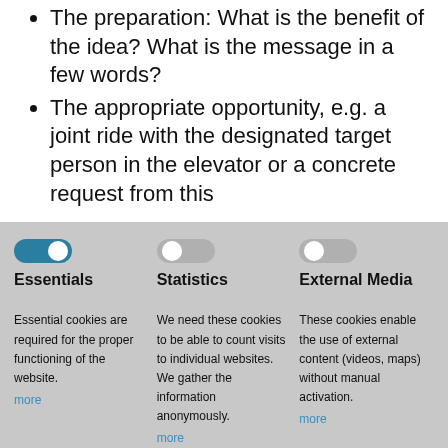The preparation: What is the benefit of the idea? What is the message in a few words?
The appropriate opportunity, e.g. a joint ride with the designated target person in the elevator or a concrete request from this
[Figure (screenshot): Cookie consent modal overlay with three toggle switches (Essentials, Statistics, External Media) on a grey background. Essentials toggle is enabled (blue/on), Statistics and External Media toggles are disabled (grey/off). Each section has a description and a 'more' link.]
We use cookies on our website. And we pay attention to your data, because data protection is also important to us. Privacy Policy -